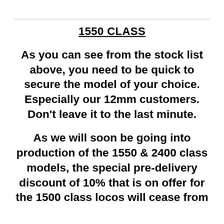1550 CLASS
As you can see from the stock list above, you need to be quick to secure the model of your choice. Especially our 12mm customers. Don’t leave it to the last minute.
As we will soon be going into production of the 1550 & 2400 class models, the special pre-delivery discount of 10% that is on offer for the 1500 class locos will cease from